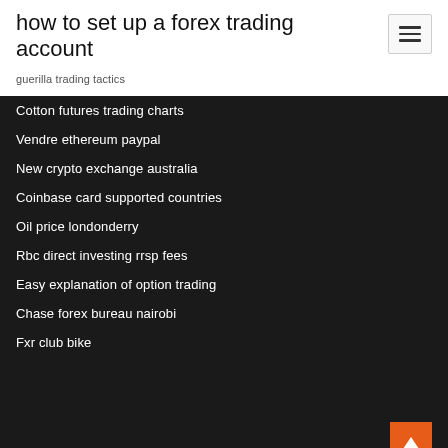how to set up a forex trading account
guerilla trading tactics
Cotton futures trading charts
Vendre ethereum paypal
New crypto exchange australia
Coinbase card supported countries
Oil price londonderry
Rbc direct investing rrsp fees
Easy explanation of option trading
Chase forex bureau nairobi
Fxr club bike